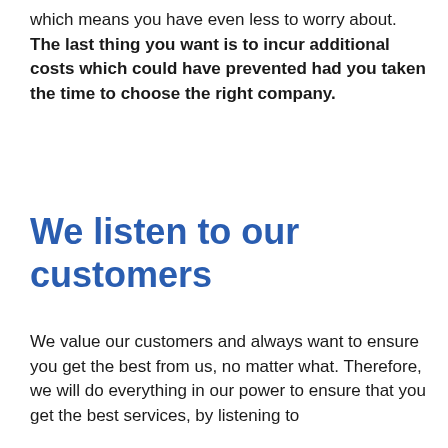which means you have even less to worry about. The last thing you want is to incur additional costs which could have prevented had you taken the time to choose the right company.
We listen to our customers
We value our customers and always want to ensure you get the best from us, no matter what. Therefore, we will do everything in our power to ensure that you get the best services, by listening to